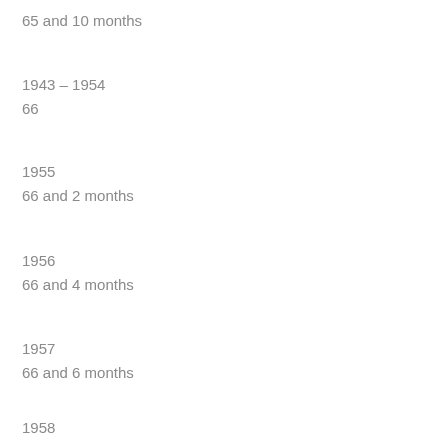65 and 10 months
1943 – 1954
66
1955
66 and 2 months
1956
66 and 4 months
1957
66 and 6 months
1958